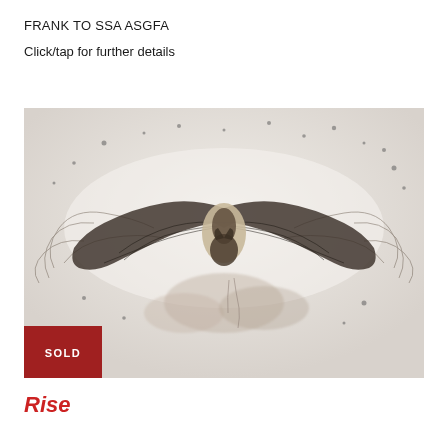FRANK TO SSA ASGFA
Click/tap for further details
[Figure (photo): Close-up photo of a bat specimen spread flat with wings extended, surrounded by scattered debris and fur, giving a dramatic textured appearance against a pale background. A red 'SOLD' badge appears in the bottom-left corner of the image.]
Rise